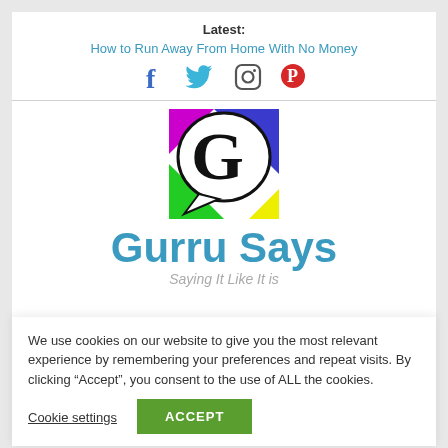Latest:
How to Run Away From Home With No Money
[Figure (other): Social media icons: Facebook, Twitter, Instagram, Pinterest]
[Figure (logo): Gurru Says logo: colorful square with speech bubble and large G letter]
Gurru Says
Saying It Like It is
We use cookies on our website to give you the most relevant experience by remembering your preferences and repeat visits. By clicking “Accept”, you consent to the use of ALL the cookies.
Cookie settings
ACCEPT